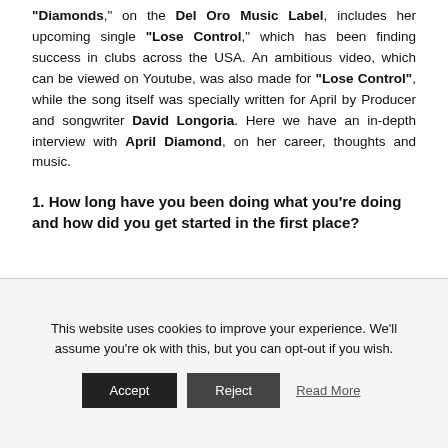"Diamonds," on the Del Oro Music Label, includes her upcoming single "Lose Control," which has been finding success in clubs across the USA. An ambitious video, which can be viewed on Youtube, was also made for "Lose Control", while the song itself was specially written for April by Producer and songwriter David Longoria. Here we have an in-depth interview with April Diamond, on her career, thoughts and music.
1. How long have you been doing what you're doing and how did you get started in the first place?
This website uses cookies to improve your experience. We'll assume you're ok with this, but you can opt-out if you wish.